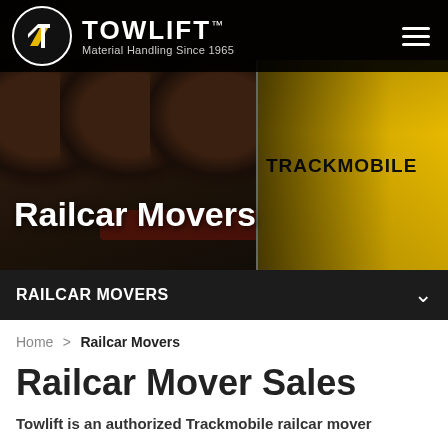[Figure (screenshot): Hero banner image showing railcars and a yellow Trackmobile railcar mover machine, with dark overlay]
TOWLIFT™ Material Handling Since 1965
Railcar Movers
RAILCAR MOVERS
Home > Railcar Movers
Railcar Mover Sales
Towlift is an authorized Trackmobile railcar mover